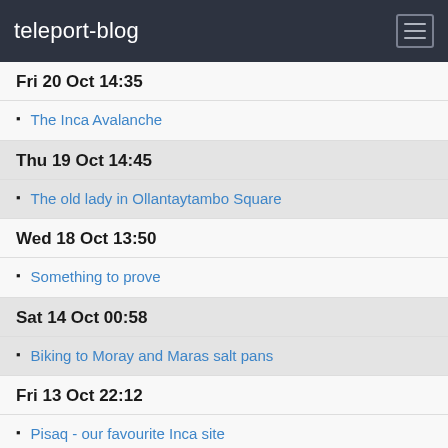teleport-blog
Fri 20 Oct 14:35
The Inca Avalanche
Thu 19 Oct 14:45
The old lady in Ollantaytambo Square
Wed 18 Oct 13:50
Something to prove
Sat 14 Oct 00:58
Biking to Moray and Maras salt pans
Fri 13 Oct 22:12
Pisaq - our favourite Inca site
Wed 11 Oct 20:13
Football fever
Tue 10 Oct 02:17
Ausangate, the mountain of the gods
Tue 3 Oct 03:17